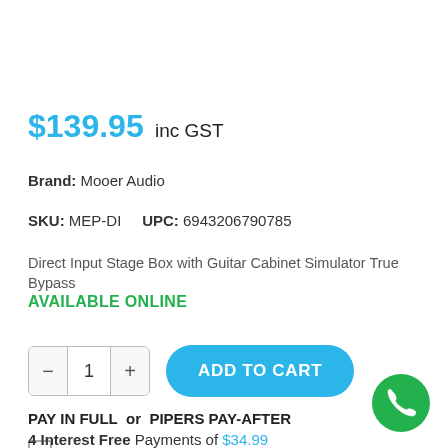$139.95 inc GST
Brand: Mooer Audio
SKU: MEP-DI    UPC: 6943206790785
Direct Input Stage Box with Guitar Cabinet Simulator True Bypass
AVAILABLE ONLINE
PAY IN FULL  or  PIPERS PAY-AFTER
4 Interest Free Payments of $34.99